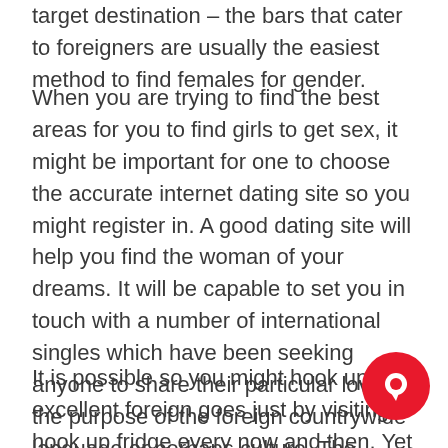target destination – the bars that cater to foreigners are usually the easiest method to find females for gender.
When you are trying to find the best areas for you to find girls to get sex, it might be important for one to choose the accurate internet dating site so you might register in. A good dating site will help you find the woman of your dreams. It will be capable to set you in touch with a number of international singles which have been seeking anyone to share their particular love for the purpose of the foreign countrywide language or perhaps culture. The foreign national words of these internet dating sites is Uk.
It is possible so you might hook up with excellent foreign goes just by visiting a hook up fridge every now and then. Yet , if you would like to have more lasting results, experts recommend for you to use a dating web page that will one to hook up with foreign women on a daily basis. Here are some of the best ways for you to date the perfect woman of